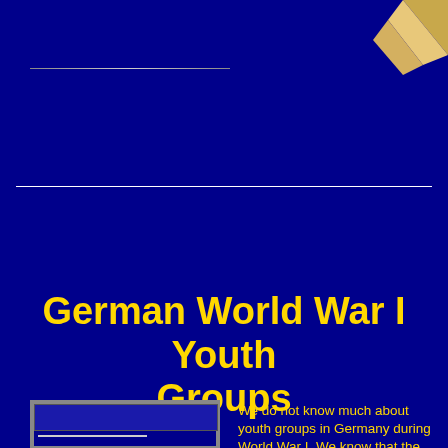[Figure (illustration): Page curl decoration in upper right corner, golden/tan color]
German World War I Youth Groups
[Figure (screenshot): Small framed image placeholder with blue background and a horizontal line, in lower left area]
We do not know much about youth groups in Germany during World War I. We know that the Hitler Youth played an important